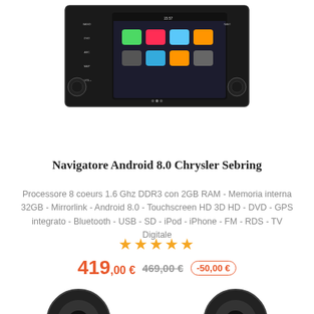[Figure (photo): Car stereo / Android head unit (Chrysler Sebring) with touchscreen showing app icons]
Navigatore Android 8.0 Chrysler Sebring
Processore 8 coeurs 1.6 Ghz DDR3 con 2GB RAM - Memoria interna 32GB - Mirrorlink - Android 8.0 - Touchscreen HD 3D HD - DVD - GPS integrato - Bluetooth - USB - SD - iPod - iPhone - FM - RDS - TV Digitale
[Figure (other): 5 orange/gold star rating]
419,00 € 469,00 € -50,00 €
[Figure (photo): Two partial images of car audio speakers at the bottom of the page]